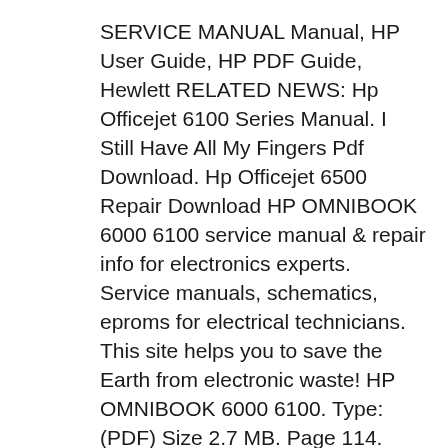SERVICE MANUAL Manual, HP User Guide, HP PDF Guide, Hewlett RELATED NEWS: Hp Officejet 6100 Series Manual. I Still Have All My Fingers Pdf Download. Hp Officejet 6500 Repair Download HP OMNIBOOK 6000 6100 service manual & repair info for electronics experts. Service manuals, schematics, eproms for electrical technicians. This site helps you to save the Earth from electronic waste! HP OMNIBOOK 6000 6100. Type: (PDF) Size 2.7 MB. Page 114. Category NOTEBOOK-PC SERVICE MANUAL. If you get stuck in repairing a defective appliance download this repair вЂ¦
6.93MB HP OFFICEJET 6100 PRINTER MANUAL As Pdf, HP OFFICEJET PRINTER